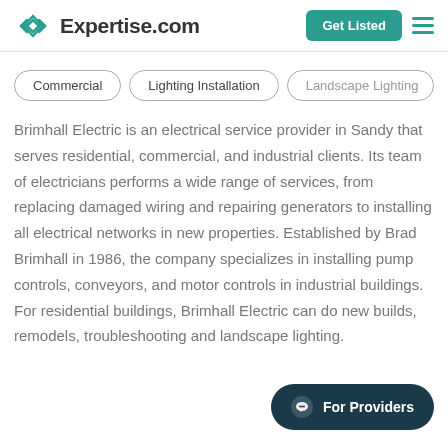Expertise.com
Commercial
Lighting Installation
Landscape Lighting
Brimhall Electric is an electrical service provider in Sandy that serves residential, commercial, and industrial clients. Its team of electricians performs a wide range of services, from replacing damaged wiring and repairing generators to installing all electrical networks in new properties. Established by Brad Brimhall in 1986, the company specializes in installing pump controls, conveyors, and motor controls in industrial buildings. For residential buildings, Brimhall Electric can do new builds, remodels, troubleshooting and landscape lighting.